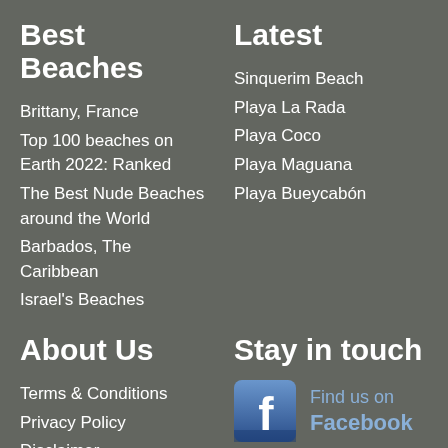Best Beaches
Brittany, France
Top 100 beaches on Earth 2022: Ranked
The Best Nude Beaches around the World
Barbados, The Caribbean
Israel's Beaches
Latest
Sinquerim Beach
Playa La Rada
Playa Coco
Playa Maguana
Playa Bueycabón
About Us
Terms & Conditions
Privacy Policy
Disclaimer
Stay in touch
[Figure (logo): Find us on Facebook logo with Facebook icon]